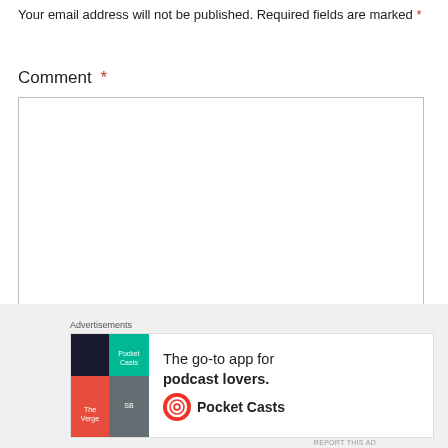Your email address will not be published. Required fields are marked *
Comment *
[Figure (screenshot): Empty comment textarea input box with resize handle]
[Figure (screenshot): Close (X) button for advertisement]
Advertisements
[Figure (illustration): Pocket Casts advertisement banner: colorful app icon on left, text 'The go-to app for podcast lovers.' with Pocket Casts logo on right]